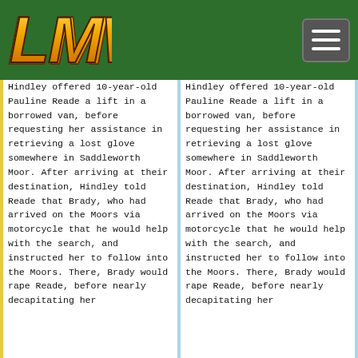[Figure (logo): LMW logo in gold/orange stylized text on green background]
Hindley offered 10-year-old Pauline Reade a lift in a borrowed van, before requesting her assistance in retrieving a lost glove somewhere in Saddleworth Moor. After arriving at their destination, Hindley told Reade that Brady, who had arrived on the Moors via motorcycle that he would help with the search, and instructed her to follow into the Moors. There, Brady would rape Reade, before nearly decapitating her
Hindley offered 10-year-old Pauline Reade a lift in a borrowed van, before requesting her assistance in retrieving a lost glove somewhere in Saddleworth Moor. After arriving at their destination, Hindley told Reade that Brady, who had arrived on the Moors via motorcycle that he would help with the search, and instructed her to follow into the Moors. There, Brady would rape Reade, before nearly decapitating her